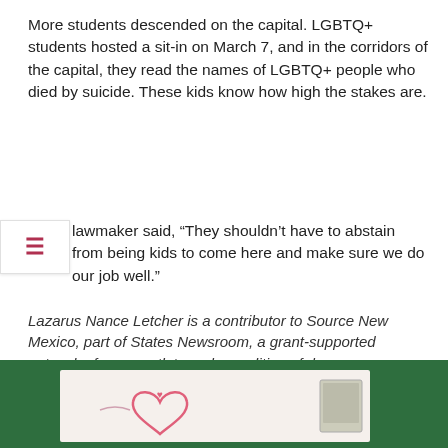More students descended on the capital. LGBTQ+ students hosted a sit-in on March 7, and in the corridors of the capital, they read the names of LGBTQ+ people who died by suicide. These kids know how high the stakes are.
lawmaker said, “They shouldn’t have to abstain from being kids to come here and make sure we do our job well.”
Lazarus Nance Letcher is a contributor to Source New Mexico, part of States Newsroom, a grant-supported network of news outlets and a coalition of donors as a 501c(3) public charity. Laz holds a Ph.D. candidate in American Studies at the University of New Mexico and a musician. Laz has written for Autostraddle, them and QED. Laz’s work focuses on the roots of transphobia in white supremacy, black and indigenous collaborations for liberation, and queer diasporas.
[Figure (photo): Bottom portion of a photo showing a white paper/envelope with a pink hand-drawn heart design and decorative elements on a green background, with what appears to be a postage stamp in the lower right corner.]